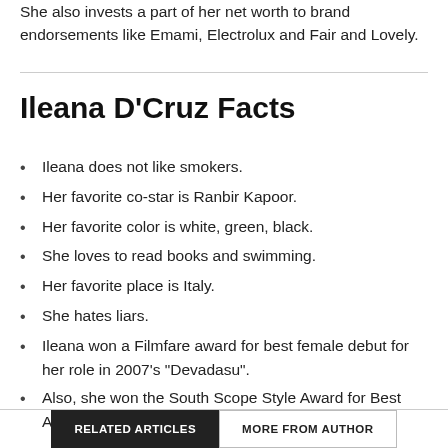She also invests a part of her net worth to brand endorsements like Emami, Electrolux and Fair and Lovely.
Ileana D’Cruz Facts
Ileana does not like smokers.
Her favorite co-star is Ranbir Kapoor.
Her favorite color is white, green, black.
She loves to read books and swimming.
Her favorite place is Italy.
She hates liars.
Ileana won a Filmfare award for best female debut for her role in 2007’s “Devadasu”.
Also, she won the South Scope Style Award for Best Actress in 2009.
RELATED ARTICLES   MORE FROM AUTHOR